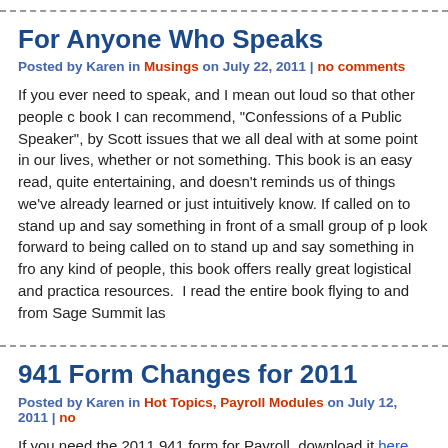For Anyone Who Speaks
Posted by Karen in Musings on July 22, 2011 | no comments
If you ever need to speak, and I mean out loud so that other people can hear you, there is a book I can recommend, "Confessions of a Public Speaker", by Scott Berkun. This book covers issues that we all deal with at some point in our lives, whether or not we do it for a living or something. This book is an easy read, quite entertaining, and doesn't teach you new things – it reminds us of things we've already learned or just intuitively know. If you're terrified of being called on to stand up and say something in front of a small group of people, or if you actually look forward to being called on to stand up and say something in front of large crowds of any kind of people, this book offers really great logistical and practical tips and resources. I read the entire book flying to and from Sage Summit las
941 Form Changes for 2011
Posted by Karen in Hot Topics, Payroll Modules on July 12, 2011 | no
If you need the 2011 941 form for Payroll, download it here.
This update is compatible with the following versions of Sage ERP M